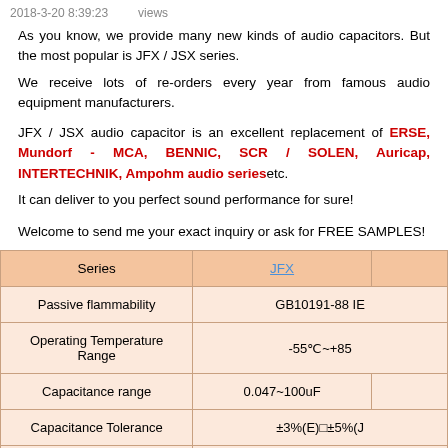2018-3-20 8:39:23    views
As you know, we provide many new kinds of audio capacitors. But the most popular is JFX / JSX series.
We receive lots of re-orders every year from famous audio equipment manufacturers.
JFX / JSX audio capacitor is an excellent replacement of ERSE, Mundorf - MCA, BENNIC, SCR / SOLEN, Auricap, INTERTECHNIK, Ampohm audio series etc.
It can deliver to you perfect sound performance for sure!
Welcome to send me your exact inquiry or ask for FREE SAMPLES!
| Series | JFX |  |
| --- | --- | --- |
| Passive flammability | GB10191-88 IE |  |
| Operating Temperature Range | -55℃~+85 |  |
| Capacitance range | 0.047~100uF |  |
| Capacitance Tolerance | ±3%(E)□±5%(J |  |
| Rated voltage | 250V□400V□63 |  |
| Withstand voltage | 1.5VR 5S |  |